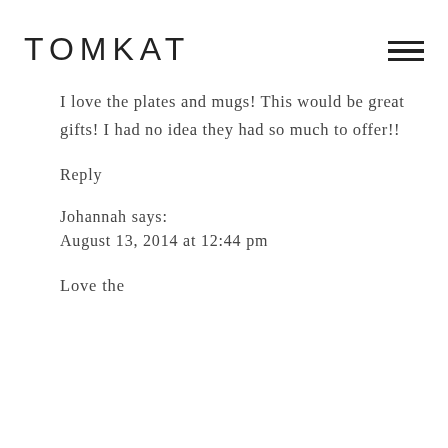TOMKAT
I love the plates and mugs! This would be great gifts! I had no idea they had so much to offer!!
Reply
Johannah says:
August 13, 2014 at 12:44 pm
Love the